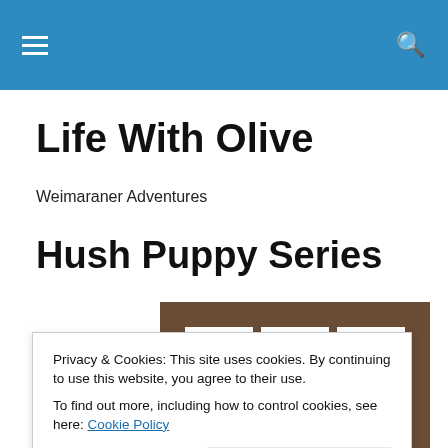Navigation bar with menu and search icons
Life With Olive
Weimaraner Adventures
Hush Puppy Series
[Figure (photo): Framed photo collage with three dog portrait photos in a wooden frame]
Privacy & Cookies: This site uses cookies. By continuing to use this website, you agree to their use.
To find out more, including how to control cookies, see here: Cookie Policy
Close and accept